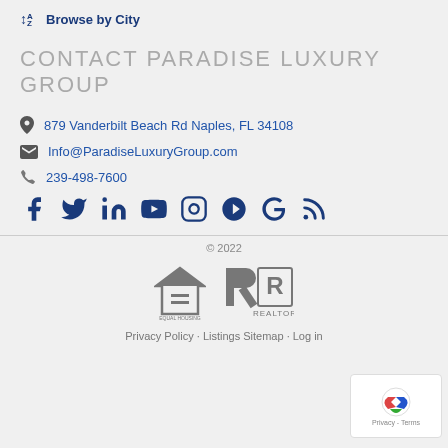Browse by City
CONTACT PARADISE LUXURY GROUP
879 Vanderbilt Beach Rd Naples, FL 34108
Info@ParadiseLuxuryGroup.com
239-498-7600
[Figure (infographic): Social media icons: Facebook, Twitter, LinkedIn, YouTube, Instagram, Yelp, Google, RSS]
© 2022
[Figure (logo): Equal Housing Opportunity logo and REALTOR logo]
Privacy Policy · Listings Sitemap · Log in